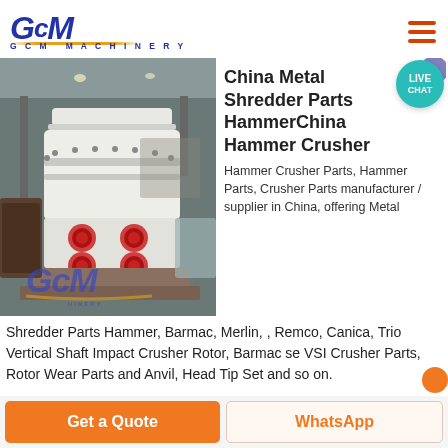[Figure (logo): GCM Machinery logo with blue italic GCM text and gold underline, subtitle 'G C M  MACHINERY']
[Figure (photo): Industrial hammer crusher / grinding mill machine (white cylindrical machine) in a factory/warehouse setting with GCM watermark overlay]
China Metal Shredder Parts HammerChina Hammer Crusher
Hammer Crusher Parts, Hammer Parts, Crusher Parts manufacturer / supplier in China, offering Metal Shredder Parts Hammer, Barmac, Merlin, , Remco, Canica, Trio Vertical Shaft Impact Crusher Rotor, Barmac se VSI Crusher Parts, Rotor Wear Parts and Anvil, Head Tip Set and so on.